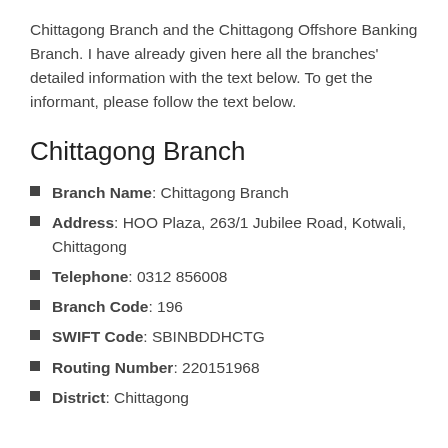Chittagong Branch and the Chittagong Offshore Banking Branch. I have already given here all the branches' detailed information with the text below. To get the informant, please follow the text below.
Chittagong Branch
Branch Name: Chittagong Branch
Address: HOO Plaza, 263/1 Jubilee Road, Kotwali, Chittagong
Telephone: 0312 856008
Branch Code: 196
SWIFT Code: SBINBDDHCTG
Routing Number: 220151968
District: Chittagong